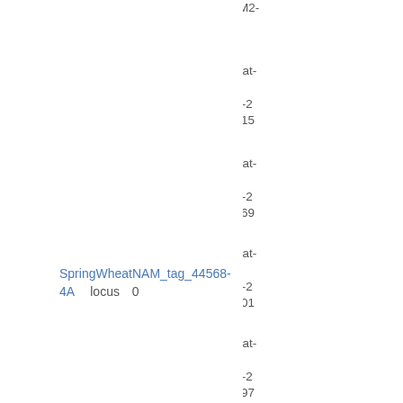- Wheat-2018-NAM2-BxPI94567_4A
Wheat ABD - Wheat-NAM26-Berkut-x-PI185715 - Wheat-2018-NAM26-BxPI185715
Wheat ABD - Wheat-NAM27-Berkut-x-PI192569 - Wheat-2018-NAM27-BxPI192569
Wheat ABD - Wheat-NAM23-Berkut-x-PI192001 - Wheat-2018-NAM23-BxPI192001
Wheat ABD - Wheat-NAM30-Berkut-x-PI278297 - Wheat-2018-NAM30-BxPI278297
Wheat ABD - Wheat-NAM24-Berkut-x-PI192147 - Wheat-2018-NAM24-BxPI192147
Wheat ABD - Wheat-NAM1-Berkut-x-DharwarDry - Wheat-2018-NAM1-BxDharwarDry
SpringWheatNAM_tag_44568-4A	locus	0